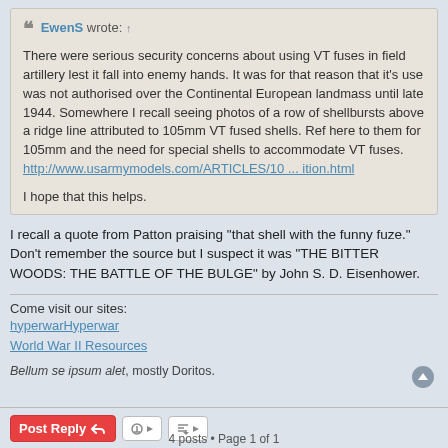EwenS wrote: ↑
There were serious security concerns about using VT fuses in field artillery lest it fall into enemy hands. It was for that reason that it's use was not authorised over the Continental European landmass until late 1944. Somewhere I recall seeing photos of a row of shellbursts above a ridge line attributed to 105mm VT fused shells. Ref here to them for 105mm and the need for special shells to accommodate VT fuses.
http://www.usarmymodels.com/ARTICLES/10 ... ition.html

I hope that this helps.
I recall a quote from Patton praising "that shell with the funny fuze." Don't remember the source but I suspect it was "THE BITTER WOODS: THE BATTLE OF THE BULGE" by John S. D. Eisenhower.
Come visit our sites:
hyperwarHyperwar
World War II Resources
Bellum se ipsum alet, mostly Doritos.
4 posts • Page 1 of 1